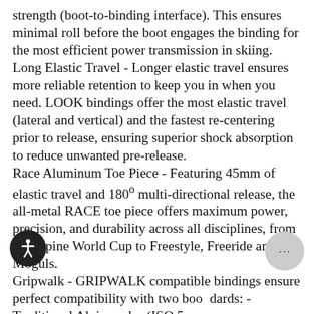strength (boot-to-binding interface). This ensures minimal roll before the boot engages the binding for the most efficient power transmission in skiing.
Long Elastic Travel - Longer elastic travel ensures more reliable retention to keep you in when you need. LOOK bindings offer the most elastic travel (lateral and vertical) and the fastest re-centering prior to release, ensuring superior shock absorption to reduce unwanted pre-release.
Race Aluminum Toe Piece - Featuring 45mm of elastic travel and 180° multi-directional release, the all-metal RACE toe piece offers maximum power, precision, and durability across all disciplines, from the Alpine World Cup to Freestyle, Freeride and Moguls.
Gripwalk - GRIPWALK compatible bindings ensure perfect compatibility with two boot standards: - Traditional Alpine soles (ISO 5... GRIPWALK soles (future ISO 23223 standard) Multi Directional Release - LOOK is the only